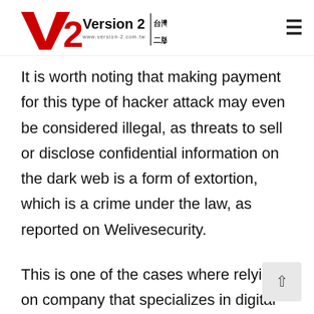Version 2 | 台灣二版 — www.version-2.com.tw
It is worth noting that making payment for this type of hacker attack may even be considered illegal, as threats to sell or disclose confidential information on the dark web is a form of extortion, which is a crime under the law, as reported on Welivesecurity.
This is one of the cases where relying on company that specializes in digital